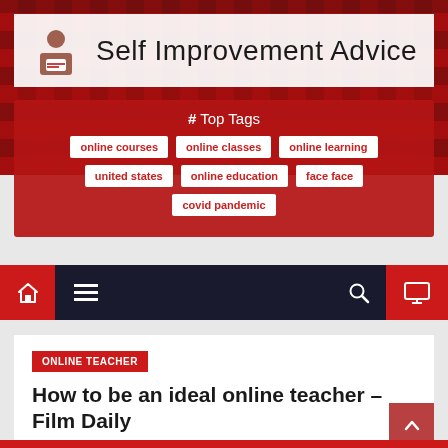Self Improvement Advice
# Top Tags
online courses
online classes
online learning
united states
online education
face face
covid pandemic
[Figure (screenshot): Navigation bar with home icon, hamburger menu, search icon, and monitor icon on dark background]
ONLINE TEACHER
How to be an ideal online teacher – Film Daily